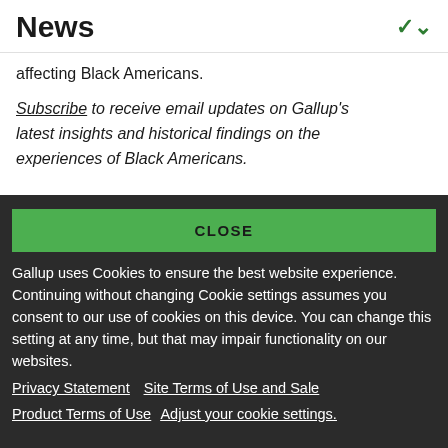News
affecting Black Americans.
Subscribe to receive email updates on Gallup's latest insights and historical findings on the experiences of Black Americans.
CLOSE
Gallup uses Cookies to ensure the best website experience. Continuing without changing Cookie settings assumes you consent to our use of cookies on this device. You can change this setting at any time, but that may impair functionality on our websites.
Privacy Statement   Site Terms of Use and Sale
Product Terms of Use   Adjust your cookie settings.